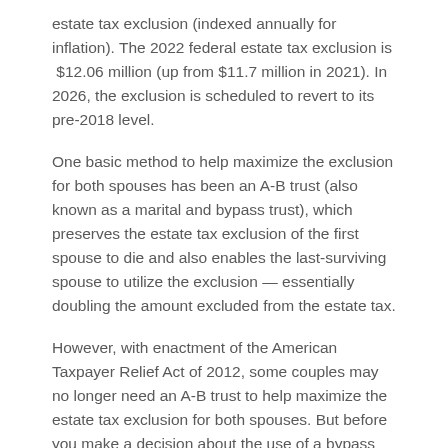estate tax exclusion (indexed annually for inflation). The 2022 federal estate tax exclusion is $12.06 million (up from $11.7 million in 2021). In 2026, the exclusion is scheduled to revert to its pre-2018 level.
One basic method to help maximize the exclusion for both spouses has been an A-B trust (also known as a marital and bypass trust), which preserves the estate tax exclusion of the first spouse to die and also enables the last-surviving spouse to utilize the exclusion — essentially doubling the amount excluded from the estate tax.
However, with enactment of the American Taxpayer Relief Act of 2012, some couples may no longer need an A-B trust to help maximize the estate tax exclusion for both spouses. But before you make a decision about the use of a bypass trust, there are a number of issues to consider.
First, a little background on the changes in the